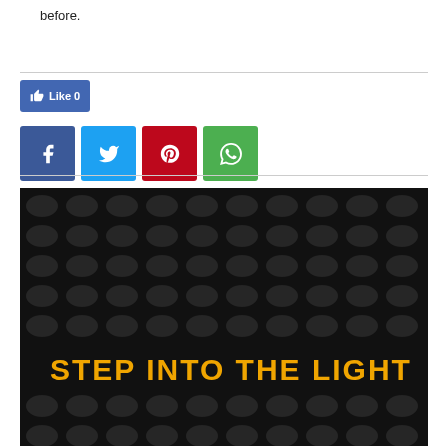before.
[Figure (screenshot): Social sharing buttons: Facebook Like button showing count 0, followed by Facebook, Twitter, Pinterest, and WhatsApp share icon buttons]
[Figure (photo): Dark background with circular dot/mesh pattern texture, with bold orange text reading STEP INTO THE LIGHT]